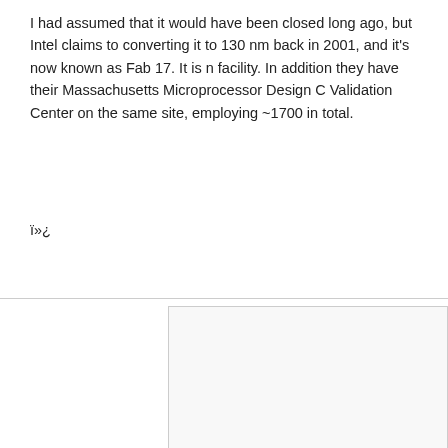I had assumed that it would have been closed long ago, but Intel claims to converting it to 130 nm back in 2001, and it's now known as Fab 17. It is n facility. In addition they have their Massachusetts Microprocessor Design C Validation Center on the same site, employing ~1700 in total.
ï»¿
[Figure (photo): Photograph of Intel's Fab 17 in Hudson, MA — a large industrial/manufacturing building.]
Fig. 10 Intel's Fab 17 in Hudson, MA (source:
Intel's Global Manufacturing Fact Sheet states that the fab manufactures " chip is clearly an "other"! Nectar announced their supply link with Intel bac